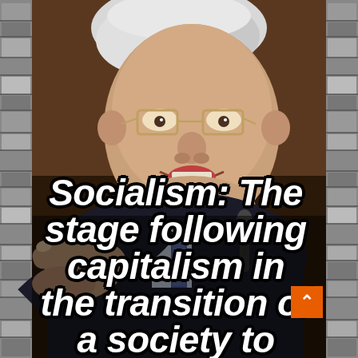[Figure (photo): A meme image featuring an elderly white-haired man with glasses in a dark suit, pointing his finger at the camera. He appears to be speaking emphatically. The image has stone-textured borders on the left and right sides. Overlaid text reads: 'Socialism: The stage following capitalism in the transition of a society to'. An orange scroll-up button with a caret/arrow appears in the lower right corner.]
Socialism:  The stage following capitalism in the transition of a society to